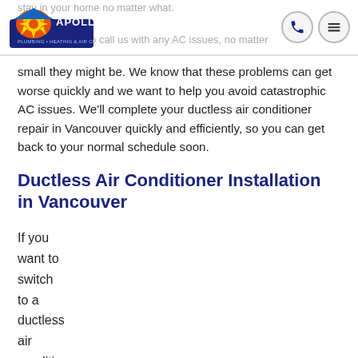Apollo Plumbing Heating & Air Conditioning — logo and navigation header
small they might be. We know that these problems can get worse quickly and we want to help you avoid catastrophic AC issues. We'll complete your ductless air conditioner repair in Vancouver quickly and efficiently, so you can get back to your normal schedule soon.
Ductless Air Conditioner Installation in Vancouver
If you want to switch to a ductless air conditioner in